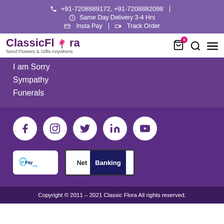+91-7208889172, +91-7208882098 | Same Day Delivery 3-4 Hrs | Insta Pay | Track Order
[Figure (logo): ClassicFlora logo with flower icon, tagline: Send Flowers & Gifts Anywhere]
I am Sorry
Sympathy
Funerals
[Figure (infographic): Social media icons: Facebook, Instagram, Twitter, LinkedIn, YouTube in white circles on purple background]
[Figure (infographic): Payment method badges: PayPal and Net Banking]
Copyright © 2011 - 2021 Classic Flora All rights reserved.